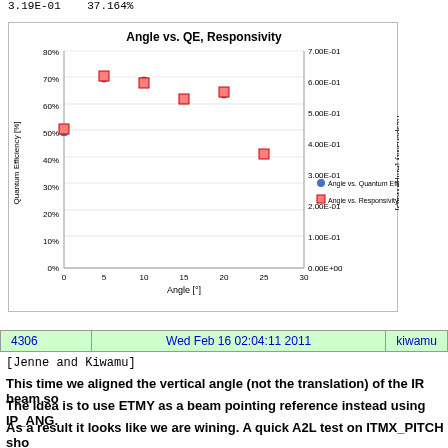3.19E-01    37.164%
[Figure (scatter-plot): Angle vs. QE, Responsivity]
4306    Wed Feb 16 02:04:11 2011    kiwamu
[Jenne and Kiwamu]
This time we aligned the vertical angle (not the translation) of the IR beam so
The idea is to use ETMY as a beam pointing reference instead using IP_ANG.
As a result it looks like we are wining. A quick A2L test on ITMX_PITCH sho